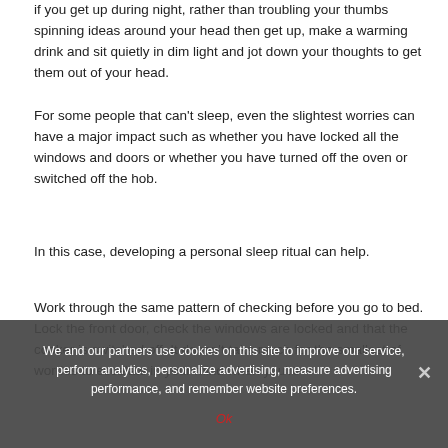if you get up during night, rather than troubling your thumbs spinning ideas around your head then get up, make a warming drink and sit quietly in dim light and jot down your thoughts to get them out of your head.
For some people that can't sleep, even the slightest worries can have a major impact such as whether you have locked all the windows and doors or whether you have turned off the oven or switched off the hob.
In this case, developing a personal sleep ritual can help.
Work through the same pattern of checking before you go to bed. Lock the front door, check the windows are locked and that the cooker is switched off. It doesn't take much for the smallest of worries to escalate in your mind when you're
We and our partners use cookies on this site to improve our service, perform analytics, personalize advertising, measure advertising performance, and remember website preferences.
Ok